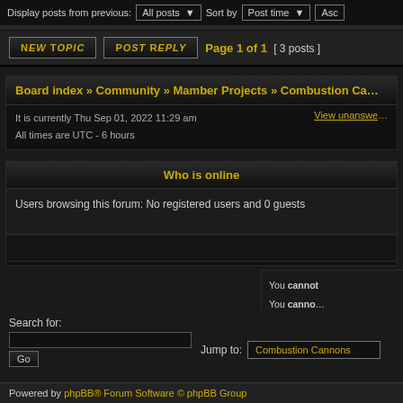Display posts from previous: All posts ▼ Sort by Post time ▼ Asc
New Topic  Post Reply  Page 1 of 1  [ 3 posts ]
Board index » Community » Mamber Projects » Combustion Ca...
It is currently Thu Sep 01, 2022 11:29 am
All times are UTC - 6 hours
View unanswe...
Who is online
Users browsing this forum: No registered users and 0 guests
You cannot
You canno...
You cannot
You cannot de...
You cannot po...
Search for:
Jump to: Combustion Cannons
Go
Powered by phpBB® Forum Software © phpBB Group